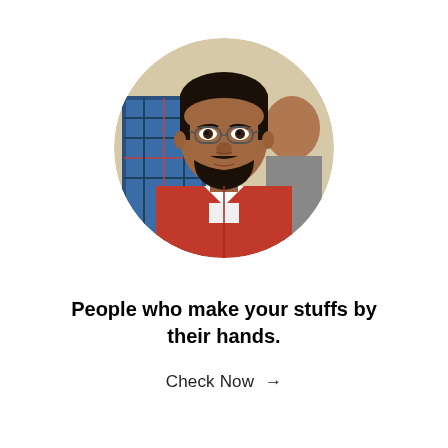[Figure (photo): Circular cropped portrait photo of a young man with glasses, a beard and mustache, wearing a red shirt. He is indoors with other people visible in the blurred background.]
People who make your stuffs by their hands.
Check Now →